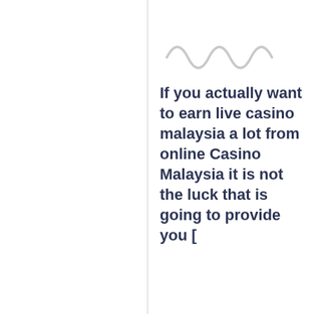[Figure (illustration): Decorative squiggle/wave line divider in light gray]
If you actually want to earn live casino malaysia a lot from online Casino Malaysia it is not the luck that is going to provide you [...]